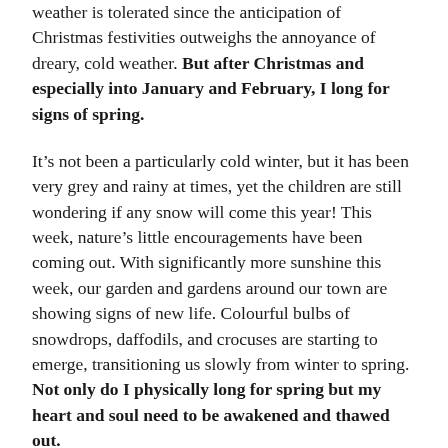weather is tolerated since the anticipation of Christmas festivities outweighs the annoyance of dreary, cold weather. But after Christmas and especially into January and February, I long for signs of spring.
It's not been a particularly cold winter, but it has been very grey and rainy at times, yet the children are still wondering if any snow will come this year! This week, nature's little encouragements have been coming out. With significantly more sunshine this week, our garden and gardens around our town are showing signs of new life. Colourful bulbs of snowdrops, daffodils, and crocuses are starting to emerge, transitioning us slowly from winter to spring. Not only do I physically long for spring but my heart and soul need to be awakened and thawed out.
Restore to me the joy of your salvation and grant me a willing spirit, to sustain me.